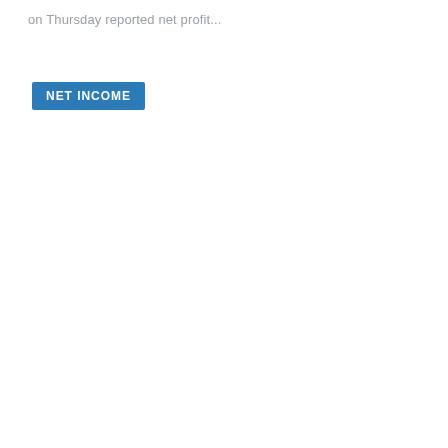on Thursday reported net profit...
NET INCOME